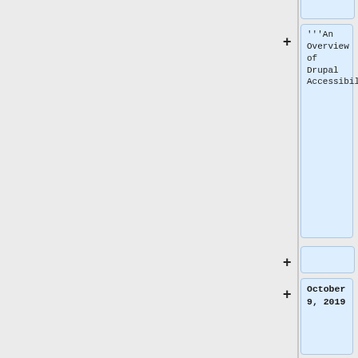'''An Overview of Drupal Accessibility'''
October 9, 2019
''Presenter: '' <br/>John Toles
[http://accessga.org/wiki/Events/an_overview_of...